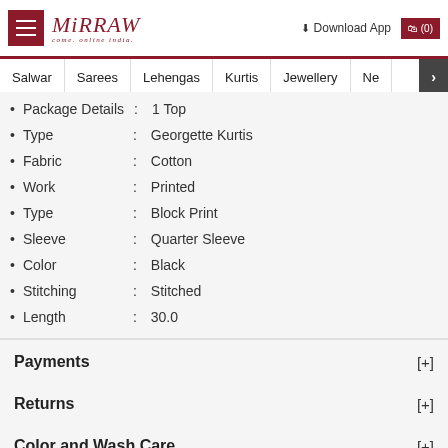Mirraw — logo and navigation header with Salwar, Sarees, Lehengas, Kurtis, Jewellery, Ne navigation items
Package Details : 1 Top
Type : Georgette Kurtis
Fabric : Cotton
Work : Printed
Type : Block Print
Sleeve : Quarter Sleeve
Color : Black
Stitching : Stitched
Length : 30.0
Payments [+]
Returns [+]
Color and Wash Care [+]